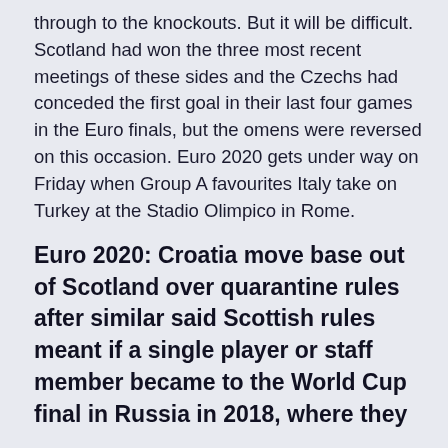through to the knockouts. But it will be difficult. Scotland had won the three most recent meetings of these sides and the Czechs had conceded the first goal in their last four games in the Euro finals, but the omens were reversed on this occasion. Euro 2020 gets under way on Friday when Group A favourites Italy take on Turkey at the Stadio Olimpico in Rome.
Euro 2020: Croatia move base out of Scotland over quarantine rules after similar said Scottish rules meant if a single player or staff member became to the World Cup final in Russia in 2018, where they